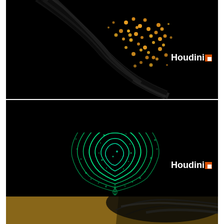[Figure (illustration): Dark background with curved streak of black hair-like strands and scattered orange/golden particles dispersing from the tip, against black background. Houdini 3D simulation render.]
[Figure (illustration): Dark background with a glowing green teardrop/droplet shape made of swirling particle lines with scattered green particles around it. Houdini 3D simulation render.]
[Figure (illustration): Dark background with photorealistic sand particles forming a dune-like landscape with golden sand on the left transitioning to grey/dark particles on the right, with visible swirl pattern in the dark area. Houdini 3D simulation render.]